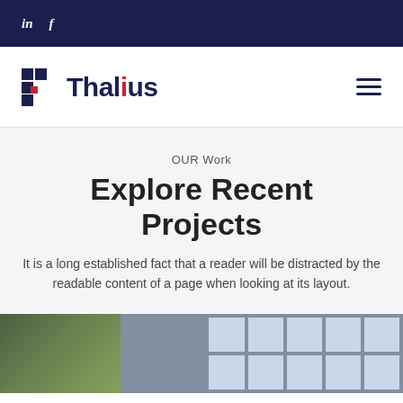in  f
[Figure (logo): Thalius company logo with grid icon and text]
OUR Work
Explore Recent Projects
It is a long established fact that a reader will be distracted by the readable content of a page when looking at its layout.
[Figure (photo): Photo of a building exterior with window panes and green foliage on the left side]